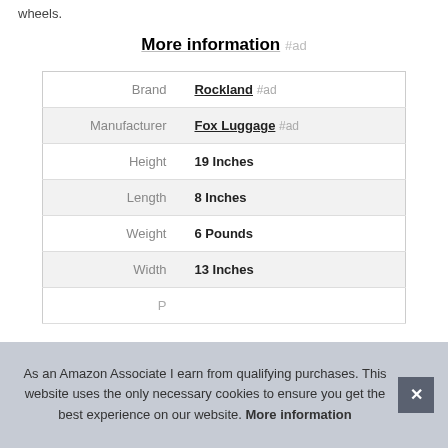wheels.
More information #ad
| Label | Value |
| --- | --- |
| Brand | Rockland #ad |
| Manufacturer | Fox Luggage #ad |
| Height | 19 Inches |
| Length | 8 Inches |
| Weight | 6 Pounds |
| Width | 13 Inches |
| P |  |
As an Amazon Associate I earn from qualifying purchases. This website uses the only necessary cookies to ensure you get the best experience on our website. More information